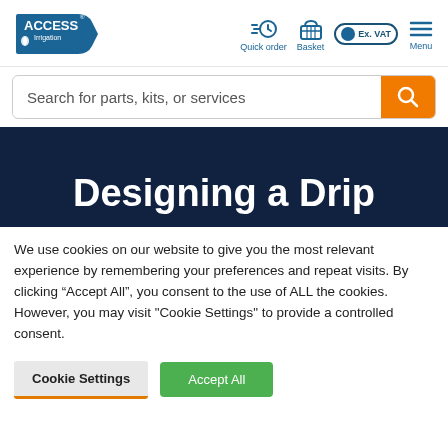[Figure (logo): Access Irrigation logo — blue pentagon/badge shape with 'ACCESS Irrigation' text and water drop icon]
[Figure (screenshot): Navigation bar icons: Quick order (clock with speed lines), Basket (shopping basket), Ex. VAT toggle (circle in rounded rectangle), Menu (hamburger three lines)]
[Figure (screenshot): Search bar with placeholder text 'Search for parts, kits, or services' and orange search button with magnifying glass icon]
Designing a Drip
We use cookies on our website to give you the most relevant experience by remembering your preferences and repeat visits. By clicking “Accept All”, you consent to the use of ALL the cookies. However, you may visit "Cookie Settings" to provide a controlled consent.
Cookie Settings | Accept All